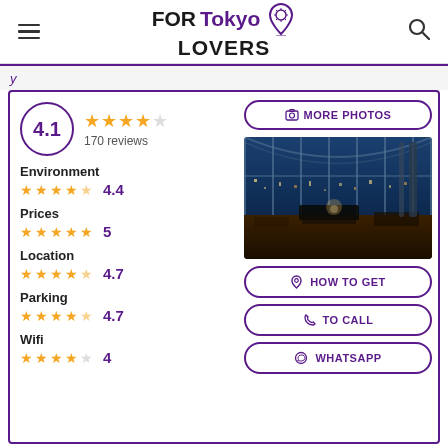FORTokyo LOVERS
[Figure (logo): FORTokyo LOVERS logo with purple location pin icon]
4.1 rating, 170 reviews, ★★★★☆
Environment 4.4
Prices 5
Location 4.7
Parking 4.7
Wifi 4
[Figure (photo): Interior photo of upscale restaurant/bar with large windows, city night view, piano visible, blue ambient lighting]
MORE PHOTOS
HOW TO GET
TO CALL
WHATSAPP